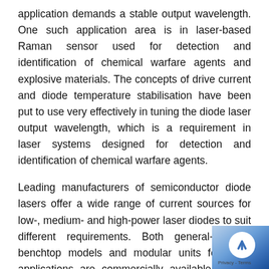application demands a stable output wavelength. One such application area is in laser-based Raman sensor used for detection and identification of chemical warfare agents and explosive materials. The concepts of drive current and diode temperature stabilisation have been put to use very effectively in tuning the diode laser output wavelength, which is a requirement in laser systems designed for detection and identification of chemical warfare agents.
Leading manufacturers of semiconductor diode lasers offer a wide range of current sources for low-, medium- and high-power laser diodes to suit different requirements. Both general-purpose benchtop models and modular units for OEM applications are commercially available from a fairly large number of manufacturers. Fig. 3 shows the photograph of a benchtop precision laser diode driver.
[Figure (photo): Partially visible UI overlay element (blue gradient background with white circular arrow/scroll-to-top button and Privacy/Terms text)]